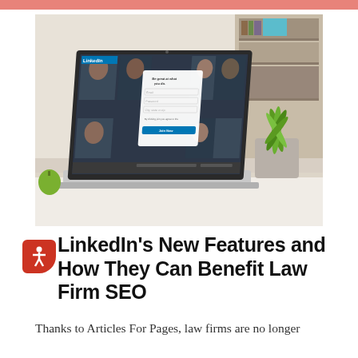[Figure (photo): A laptop with LinkedIn login page open on screen, sitting on a white desk next to a potted green plant. Bookshelves visible in background.]
LinkedIn’s New Features and How They Can Benefit Law Firm SEO
Thanks to Articles For Pages, law firms are no longer